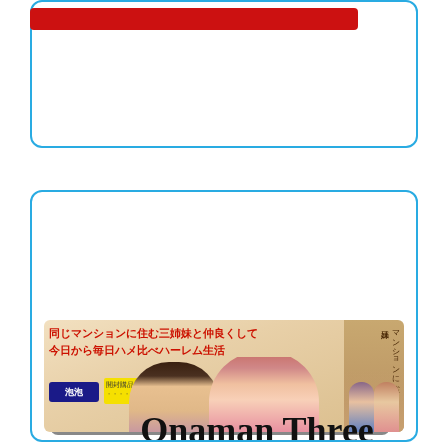[Figure (illustration): Top card with blue border containing a red bar/button at top, white space below]
[Figure (illustration): Product card with blue border containing title 'Onaman Three Sisters' in serif font and a manga/anime product box image below showing Japanese text and anime characters]